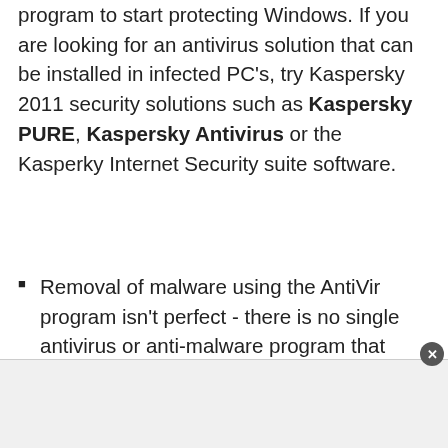program to start protecting Windows. If you are looking for an antivirus solution that can be installed in infected PC's, try Kaspersky 2011 security solutions such as Kaspersky PURE, Kaspersky Antivirus or the Kasperky Internet Security suite software.
Removal of malware using the AntiVir program isn't perfect - there is no single antivirus or anti-malware program that provides perfect removal of infections on a PC. AV Comparatives have tested